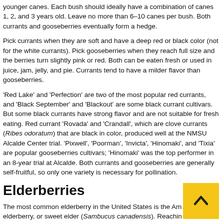younger canes. Each bush should ideally have a combination of canes 1, 2, and 3 years old. Leave no more than 6–10 canes per bush. Both currants and gooseberries eventually form a hedge.
Pick currants when they are soft and have a deep red or black color (not for the white currants). Pick gooseberries when they reach full size and the berries turn slightly pink or red. Both can be eaten fresh or used in juice, jam, jelly, and pie. Currants tend to have a milder flavor than gooseberries.
'Red Lake' and 'Perfection' are two of the most popular red currants, and 'Black September' and 'Blackout' are some black currant cultivars. But some black currants have strong flavor and are not suitable for fresh eating. Red currant 'Rovada' and 'Crandall', which are clove currants (Ribes odoratum) that are black in color, produced well at the NMSU Alcalde Center trial. 'Pixwell', 'Poorman', 'Invicta', 'Hinomaki', and 'Tixia' are popular gooseberries cultivars; 'Hinomaki' was the top performer in an 8-year trial at Alcalde. Both currants and gooseberries are generally self-fruitful, so only one variety is necessary for pollination.
Elderberries
The most common elderberry in the United States is the American elderberry, or sweet elder (Sambucus canadensis). Reachingature